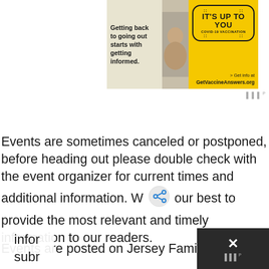[Figure (infographic): COVID-19 vaccination advertisement banner. Left side shows photo with text 'Getting back to going out starts with getting informed.' Right yellow side shows pill-shaped badge 'IT'S UP TO YOU COVID-19 VACCINATION' and link '> Get info at GetVaccineAnswers.org']
Events are sometimes canceled or postponed, before heading out please double check with the event organizer for current times and additional information. W [share icon] our best to provide the most relevant and timely information to our readers.
Events are posted on Jersey Family Fun with